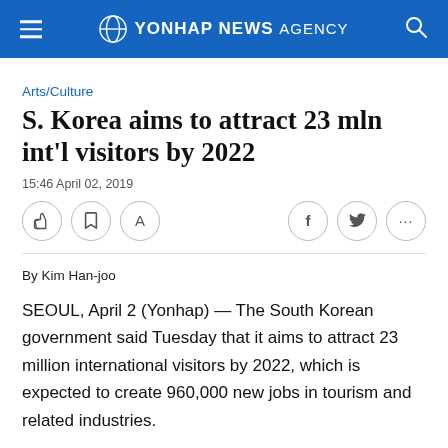YONHAP NEWS AGENCY
Arts/Culture
S. Korea aims to attract 23 mln int'l visitors by 2022
15:46 April 02, 2019
By Kim Han-joo
SEOUL, April 2 (Yonhap) — The South Korean government said Tuesday that it aims to attract 23 million international visitors by 2022, which is expected to create 960,000 new jobs in tourism and related industries.